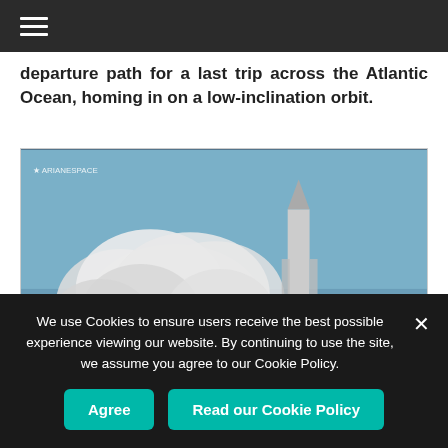≡
departure path for a last trip across the Atlantic Ocean, homing in on a low-inclination orbit.
[Figure (photo): Rocket launch with large plume of white smoke against a blue sky, trees visible in foreground, launch tower structure visible. Arianespace logo visible in upper left corner.]
We use Cookies to ensure users receive the best possible experience viewing our website. By continuing to use the site, we assume you agree to our Cookie Policy.